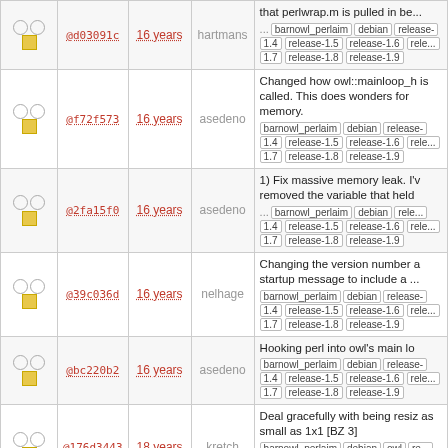| checks | icon | hash | age | author | description |
| --- | --- | --- | --- | --- | --- |
| ○ ○ | ■ | @d03091c | 16 years | hartmans | that perlwrap.m is pulled in be... barnowl_perlaim debian release- 1.4 release-1.5 release-1.6 rele... 1.7 release-1.8 release-1.9 |
| ○ ○ | ■ | @f72f573 | 16 years | asedeno | Changed how owl::mainloop_h is called. This does wonders for memory. barnowl_perlaim debian release- 1.4 release-1.5 release-1.6 rele... 1.7 release-1.8 release-1.9 |
| ○ ○ | ■ | @2fa15f0 | 16 years | asedeno | 1) Fix massive memory leak. I'v removed the variable that held ... barnowl_perlaim debian rele... 1.4 release-1.5 release-1.6 rele... 1.7 release-1.8 release-1.9 |
| ○ ○ | ■ | @39c036d | 16 years | nelhage | Changing the version number a startup message to include a ... barnowl_perlaim debian release- 1.4 release-1.5 release-1.6 rele... 1.7 release-1.8 release-1.9 |
| ○ ○ | ■ | @bc220b2 | 16 years | asedeno | Hooking perl into owl's main lo barnowl_perlaim debian release- 1.4 release-1.5 release-1.6 rele... 1.7 release-1.8 release-1.9 |
| ○ ○ | ■ | @176d3443 | 18 years | kretch | Deal gracefully with being resiz as small as 1x1 [BZ 3] barnowl_perlaim debian owl re... 1.4 release-1.5 release-1.6 rele... 1.7 release-1.8 release-1.9 |
| ○ ○ | ■ | @15b34fd | 18 years | kretch | Fixed some small memory leak logging if files unwriteable If th... barnowl_perlaim debian owl re... 1.4 release-1.5 release-1.6 rele... 1.7 release-1.8 release-1.9 |